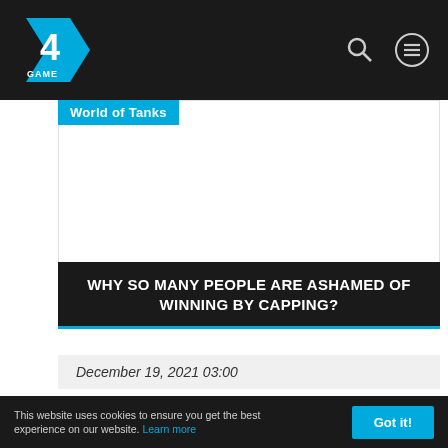4GAME — World of Tanks
WHY SO MANY PEOPLE ARE ASHAMED OF WINNING BY CAPPING?
December 19, 2021 03:00
"No cap, kill all"

That literally became a meme in the community.
This website uses cookies to ensure you get the best experience on our website. Learn more   Got it!